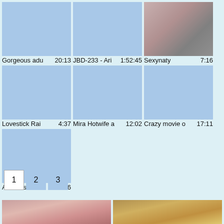[Figure (screenshot): Video thumbnail grid row 1: three video thumbnails with titles and durations. Thumbnail 1: blue placeholder, title 'Gorgeous adu', duration '20:13'. Thumbnail 2: blue placeholder, title 'JBD-233 - Ari', duration '1:52:45'. Thumbnail 3: photo of person in black outfit, title 'Sexynaty', duration '7:16'.]
[Figure (screenshot): Video thumbnail grid row 2: three video thumbnails. Thumbnail 1: blue placeholder, title 'Lovestick Rai', duration '4:37'. Thumbnail 2: blue placeholder, title 'Mira Hotwife a', duration '12:02'. Thumbnail 3: blue placeholder, title 'Crazy movie o', duration '17:11'.]
[Figure (screenshot): Video thumbnail grid row 3: one video thumbnail. Blue placeholder, title 'Airi Natsume', duration '21:16'.]
1  2  3
[Figure (photo): Two photo thumbnails at the bottom of the page, partially visible.]